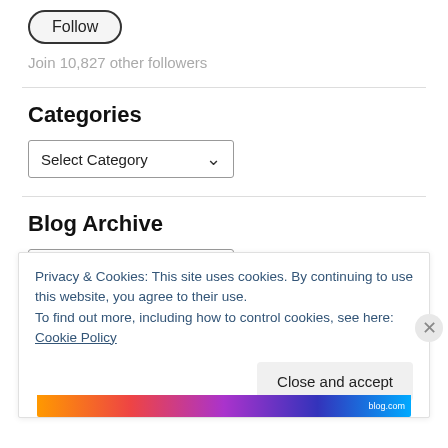[Figure (other): Follow button with rounded border]
Join 10,827 other followers
Categories
[Figure (other): Select Category dropdown]
Blog Archive
[Figure (other): Select Month dropdown]
Privacy & Cookies: This site uses cookies. By continuing to use this website, you agree to their use.
To find out more, including how to control cookies, see here: Cookie Policy
Close and accept